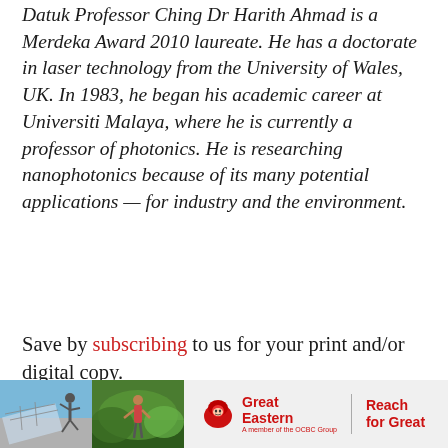Datuk Professor Ching Dr Harith Ahmad is a Merdeka Award 2010 laureate. He has a doctorate in laser technology from the University of Wales, UK. In 1983, he began his academic career at Universiti Malaya, where he is currently a professor of photonics. He is researching nanophotonics because of its many potential applications — for industry and the environment.
Save by subscribing to us for your print and/or digital copy.
P/S: The Edge is also available on Apple's
[Figure (photo): Advertisement banner with two photos (person jumping near solar panels, person gardening) and Great Eastern 'Reach for Great' logo]